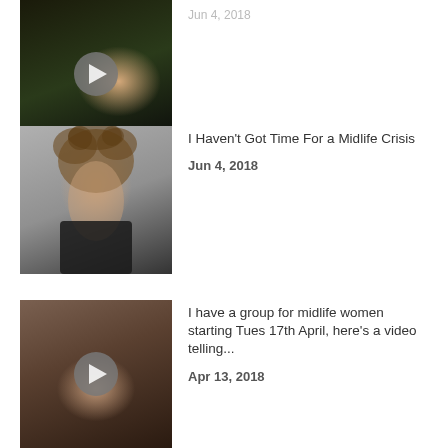[Figure (photo): Video thumbnail showing a person with mouth open, dark background with play button overlay]
Jun 4, 2018
[Figure (photo): Photo of a Black woman with curly hair, mouth open laughing/yelling, wearing a black top against gray background]
I Haven't Got Time For a Midlife Crisis
Jun 4, 2018
[Figure (photo): Video thumbnail showing a person's face close up with play button overlay, warm indoor background]
I have a group for midlife women starting Tues 17th April, here's a video telling...
Apr 13, 2018